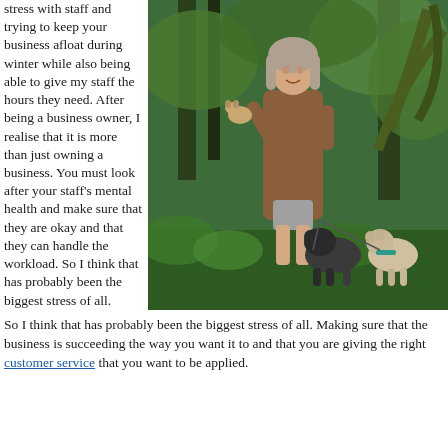stress with staff and trying to keep your business afloat during winter while also being able to give my staff the hours they need. After being a business owner, I realise that it is more than just owning a business. You must look after your staff's mental health and make sure that they are okay and that they can handle the workload. So I think that has probably been the biggest stress of all. Making sure that the business is succeeding the way you want it to and that you are giving the right customer service that you want to be applied.
[Figure (photo): A woman with grey/blonde hair wearing a brown coat and grey dress, standing in a lush green garden setting, holding a small dog (chihuahua) and accompanied by two more dogs on the ground beside her.]